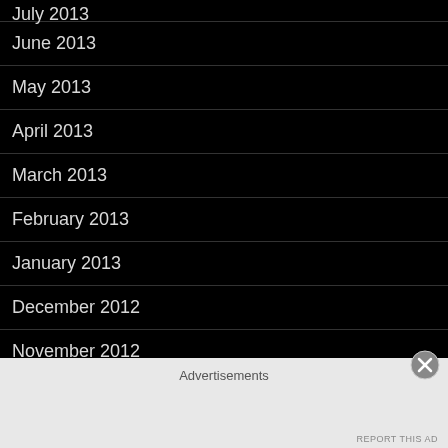July 2013
June 2013
May 2013
April 2013
March 2013
February 2013
January 2013
December 2012
November 2012
October 2012
September 2011
Advertisements
REPORT THIS AD